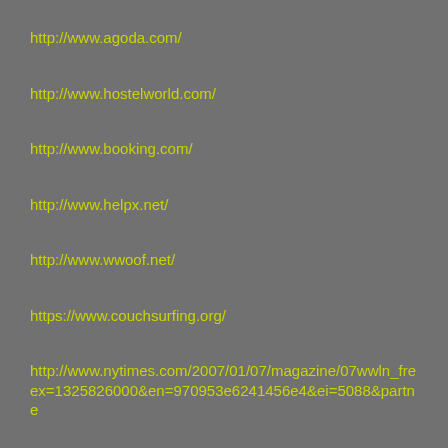http://www.agoda.com/
http://www.hostelworld.com/
http://www.booking.com/
http://www.helpx.net/
http://www.wwoof.net/
https://www.couchsurfing.org/
http://www.nytimes.com/2007/01/07/magazine/07wwln_fre ex=1325826000&en=970953e6241456e4&ei=5088&partne
http://www.statisticbrain.com/gym-membership-